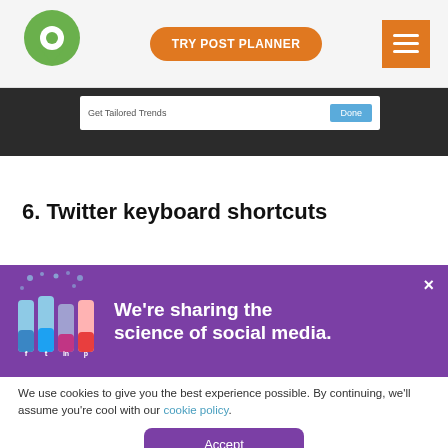TRY POST PLANNER
[Figure (screenshot): Screenshot of a Twitter tailored trends dialog with 'Get Tailored Trends' input and a blue 'Done' button on a dark background]
6. Twitter keyboard shortcuts
[Figure (infographic): Purple banner with social media lab beakers illustration on the left and white bold text reading 'We're sharing the science of social media.' with an X close button]
We use cookies to give you the best experience possible. By continuing, we'll assume you're cool with our cookie policy.
Accept